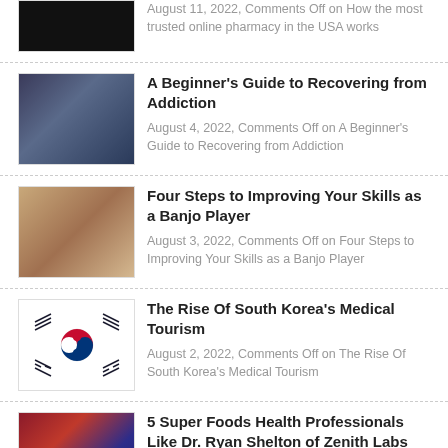[Figure (photo): Dark/black thumbnail image, partially visible at top]
August 11, 2022, Comments Off on How the most trusted online pharmacy in the USA works
[Figure (photo): Blue-toned photo possibly showing addiction recovery theme]
A Beginner's Guide to Recovering from Addiction
August 4, 2022, Comments Off on A Beginner's Guide to Recovering from Addiction
[Figure (photo): Photo of hands playing banjo with wooden background]
Four Steps to Improving Your Skills as a Banjo Player
August 3, 2022, Comments Off on Four Steps to Improving Your Skills as a Banjo Player
[Figure (photo): South Korean flag (Taegukgi)]
The Rise Of South Korea's Medical Tourism
August 2, 2022, Comments Off on The Rise Of South Korea's Medical Tourism
[Figure (photo): Close-up photo of mixed berries including blueberries and strawberries]
5 Super Foods Health Professionals Like Dr. Ryan Shelton of Zenith Labs Can Stand Behind
August 2, 2022, Comments Off on 5 Super Foods Health Professionals Like Dr. Ryan Shelton of Zenith Labs Can Stand Behind
[Figure (photo): Healthcare career themed image, partially visible]
How to Take Your Healthcare Career in a New Direction